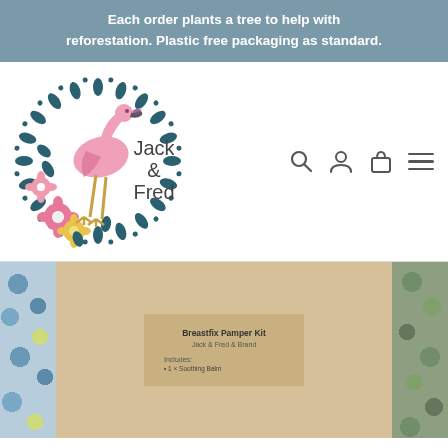Each order plants a tree to help with reforestation. Plastic free packaging as standard.
[Figure (logo): Jack & Fred brand logo: a flamingo standing inside a circular floral wreath made of teal leaves and pink/yellow flowers, with the text 'Jack & Fred' beside it]
[Figure (photo): Photograph of a brown paper package/envelope with a label reading 'Breastfix Pamper Kit' on a floral patterned background with blue/green and yellow flowers]